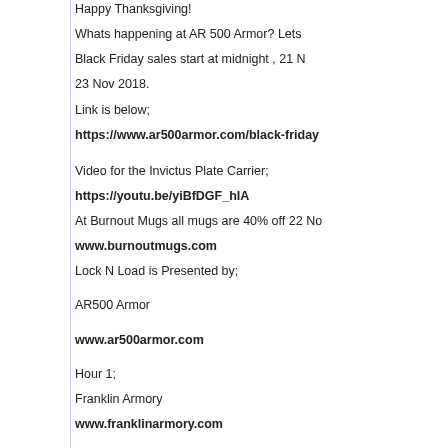Happy Thanksgiving!
Whats happening at AR 500 Armor? Lets
Black Friday sales start at midnight , 21 N
23 Nov 2018.
Link is below;
https://www.ar500armor.com/black-friday
Video for the Invictus Plate Carrier;
https://youtu.be/yiBfDGF_hIA
At Burnout Mugs all mugs are 40% off 22 No
www.burnoutmugs.com
Lock N Load is Presented by;
AR500 Armor
www.ar500armor.com
Hour 1;
Franklin Armory
www.franklinarmory.com